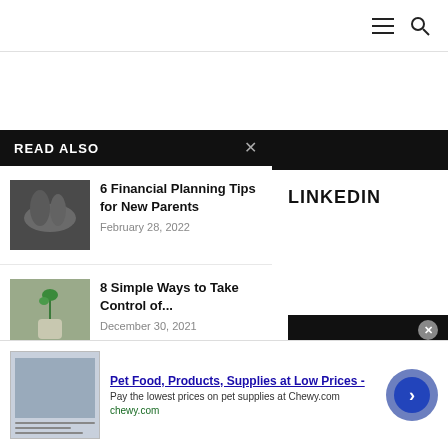Navigation bar with hamburger menu and search icons
READ ALSO
[Figure (photo): Hands holding a small item, black and white photo]
6 Financial Planning Tips for New Parents
February 28, 2022
[Figure (photo): Small plant growing from coins in a jar]
8 Simple Ways to Take Control of...
December 30, 2021
TWITTER
LINKEDIN
Pet Food, Products, Supplies at Low Prices -
Pay the lowest prices on pet supplies at Chewy.com
chewy.com